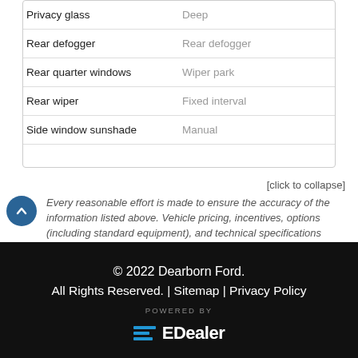| Feature | Value |
| --- | --- |
| Privacy glass | Deep |
| Rear defogger | Rear defogger |
| Rear quarter windows | Wiper park |
| Rear wiper | Fixed interval |
| Side window sunshade | Manual |
[click to collapse]
Every reasonable effort is made to ensure the accuracy of the information listed above. Vehicle pricing, incentives, options (including standard equipment), and technical specifications listed is for the 2022 Kia Telluride Nightsky may not match the exact vehicle displayed. Please confirm with a sales representative the accuracy of this information.
© 2022 Dearborn Ford. All Rights Reserved. | Sitemap | Privacy Policy POWERED BY EDealer